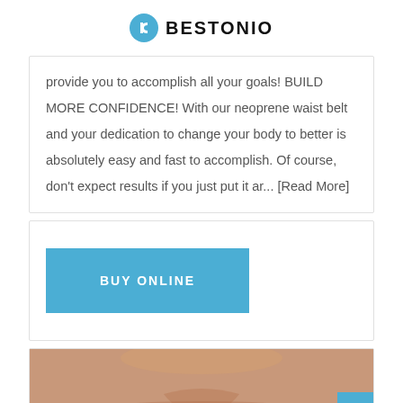BESTONIO
provide you to accomplish all your goals! BUILD MORE CONFIDENCE! With our neoprene waist belt and your dedication to change your body to better is absolutely easy and fast to accomplish. Of course, don't expect results if you just put it ar... [Read More]
BUY ONLINE
[Figure (photo): Cropped photo of a person's midsection/torso, skin visible, suggesting a fitness/body transformation context.]